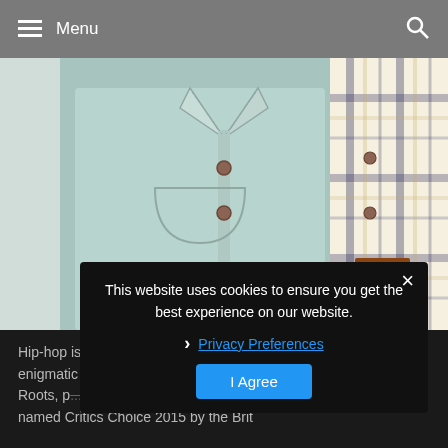≡ Menu
[Figure (photo): Close-up of two shirts side by side: a light blue chambray/denim button-up shirt on the left with brown buttons and topstitching details, and a cream/white plaid flannel shirt on the right with navy and tan plaid pattern.]
Hip-hop is still well represented with tracks from — playing their enigmatic at this year's festival – as well as Wu-Tang Clan & The Roots, p... int to the throne Earl Sweat... featuring: James Bay – named Critics Choice 2015 by the Brit
This website uses cookies to ensure you get the best experience on our website.
Privacy Preferences
I Agree